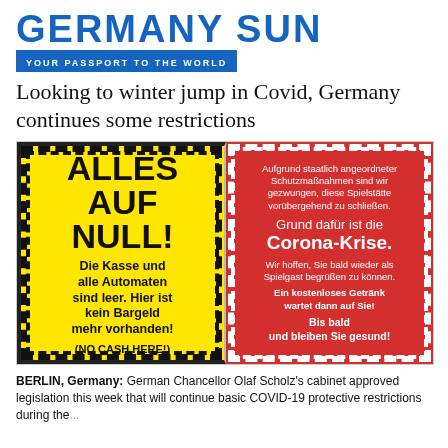GERMANY SUN — YOUR PASSPORT TO THE WORLD
Looking to winter jump in Covid, Germany continues some restrictions
[Figure (photo): Two signs side by side: a yellow sign reading 'ALLES AUF NULL! Die Kasse und alle Automaten sind leer. Hier ist kein Bargeld mehr vorhanden! (NO CASH HERE!)' and a red sign reading 'Aufgrund staatlich angeordneter Schutzmaßnahmen sind wir gezwungen, diese Spielstätte vorübergehend zu schließen. Grund dafür ist die Corona-Krise. Wir hoffen, Sie bald wieder als Spielgast begrüßen zu können. Ein kostenloses Getränk wartet dann auf Sie! Bis bald und bleiben Sie gesund!']
BERLIN, Germany: German Chancellor Olaf Scholz's cabinet approved legislation this week that will continue basic COVID-19 protective restrictions during the...